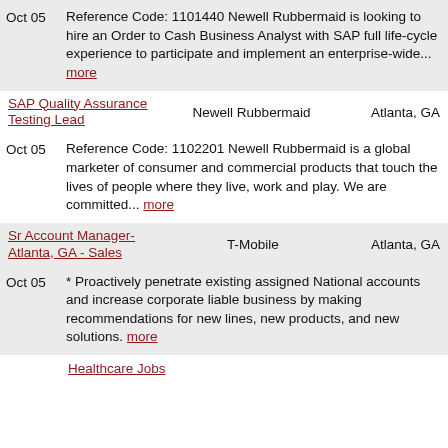Oct 05 Reference Code: 1101440 Newell Rubbermaid is looking to hire an Order to Cash Business Analyst with SAP full life-cycle experience to participate and implement an enterprise-wide... more
SAP Quality Assurance Testing Lead   Newell Rubbermaid   Atlanta, GA
Oct 05 Reference Code: 1102201 Newell Rubbermaid is a global marketer of consumer and commercial products that touch the lives of people where they live, work and play. We are committed... more
Sr Account Manager-Atlanta, GA - Sales   T-Mobile   Atlanta, GA
Oct 05 * Proactively penetrate existing assigned National accounts and increase corporate liable business by making recommendations for new lines, new products, and new solutions. more
Healthcare Jobs